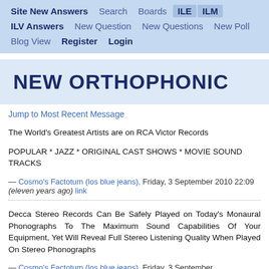Site New Answers  Search  Boards  ILE  ILM  ILV Answers  New Question  New Questions  New Poll  Blog View  Register  Login
NEW ORTHOPHONIC
Jump to Most Recent Message
The World's Greatest Artists are on RCA Victor Records
POPULAR * JAZZ * ORIGINAL CAST SHOWS * MOVIE SOUND TRACKS
— Cosmo's Factotum (los blue jeans), Friday, 3 September 2010 22:09 (eleven years ago) link
Decca Stereo Records Can Be Safely Played on Today's Monaural Phonographs To The Maximum Sound Capabilities Of Your Equipment, Yet Will Reveal Full Stereo Listening Quality When Played On Stereo Phonographs
— Cosmo's Factotum (los blue jeans), Friday, 3 September